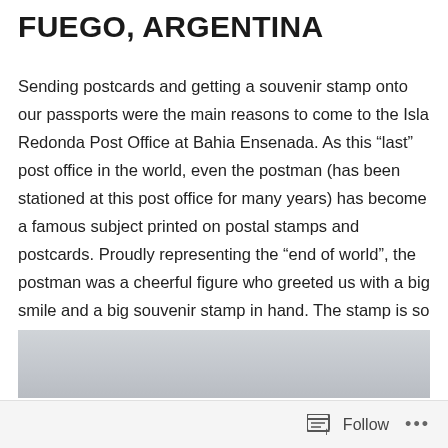FUEGO, ARGENTINA
Sending postcards and getting a souvenir stamp onto our passports were the main reasons to come to the Isla Redonda Post Office at Bahia Ensenada. As this “last” post office in the world, even the postman (has been stationed at this post office for many years) has become a famous subject printed on postal stamps and postcards. Proudly representing the “end of world”, the postman was a cheerful figure who greeted us with a big smile and a big souvenir stamp in hand. The stamp is so big that it took up a full page of our passport. And guess what’s on the stamp… the forever penguins!
[Figure (photo): Partial view of a photograph, mostly showing a light grey/silver toned background, likely the bottom portion of an image related to the post office or Tierra del Fuego.]
Follow ···